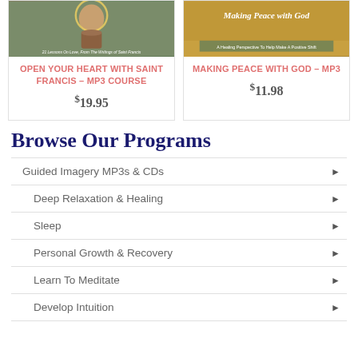[Figure (illustration): Book cover for Open Your Heart With Saint Francis MP3 Course showing a saint illustration with halo]
OPEN YOUR HEART WITH SAINT FRANCIS – MP3 COURSE
$19.95
[Figure (illustration): Book cover for Making Peace With God MP3 showing golden background with Making Peace With God text]
MAKING PEACE WITH GOD – MP3
$11.98
Browse Our Programs
Guided Imagery MP3s & CDs
Deep Relaxation & Healing
Sleep
Personal Growth & Recovery
Learn To Meditate
Develop Intuition